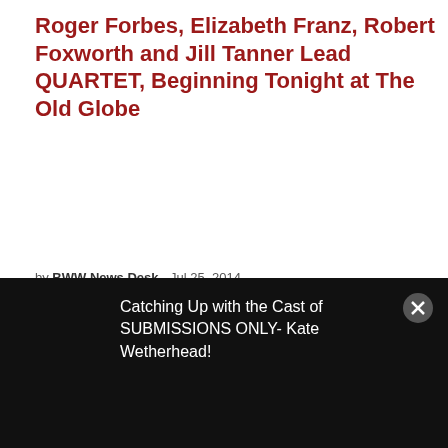Roger Forbes, Elizabeth Franz, Robert Foxworth and Jill Tanner Lead QUARTET, Beginning Tonight at The Old Globe
by BWW News Desk - Jul 25, 2014
The Old Globe presents its third production of the 2014 Summer Season, Ronald Harwood's comedy Quartet, directed by Richard Seer (Other Desert Cities, God of Carnage, The Last Romance). Harwood received an Academy Award for his screenplay of The
Catching Up with the Cast of SUBMISSIONS ONLY- Kate Wetherhead!